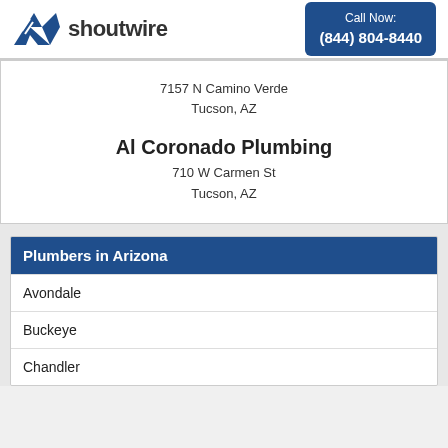[Figure (logo): Shoutwire logo with blue angular bird/wing icon and the text 'shoutwire']
Call Now:
(844) 804-8440
7157 N Camino Verde
Tucson, AZ
Al Coronado Plumbing
710 W Carmen St
Tucson, AZ
Plumbers in Arizona
Avondale
Buckeye
Chandler